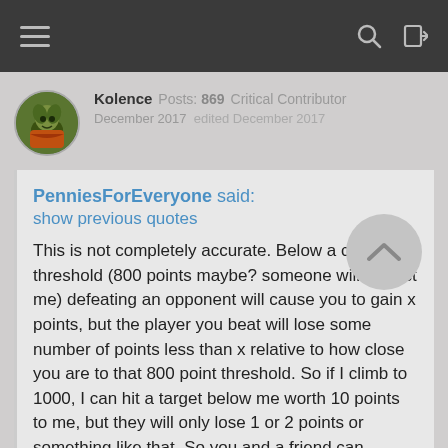Navigation bar with hamburger menu, search icon, and login icon
Kolence  Posts: 869  Critical Contributor
December 2017  edited December 2017
PenniesForEveryone said:
show previous quotes
This is not completely accurate.  Below a certain threshold (800 points maybe? someone will correct me) defeating an opponent will cause you to gain x points, but the player you beat will lose some number of points less than x relative to how close you are to that 800 point threshold.  So if I climb to 1000, I can hit a target below me worth 10 points to me, but they will only lose 1 or 2 points or something like that.  So you and a friend can actually attack each other back